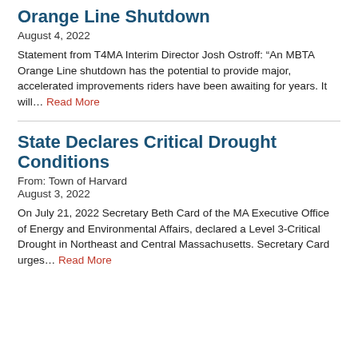Orange Line Shutdown
August 4, 2022
Statement from T4MA Interim Director Josh Ostroff: “An MBTA Orange Line shutdown has the potential to provide major, accelerated improvements riders have been awaiting for years. It will… Read More
State Declares Critical Drought Conditions
From: Town of Harvard
August 3, 2022
On July 21, 2022 Secretary Beth Card of the MA Executive Office of Energy and Environmental Affairs, declared a Level 3-Critical Drought in Northeast and Central Massachusetts. Secretary Card urges… Read More